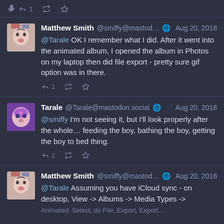[Figure (screenshot): Social media thread screenshot showing Mastodon posts between Matthew Smith and Tarale, Aug 20 2018]
1 [retweet icon] [star icon]
Matthew Smith @smiffy@mastod... Aug 20, 2018 @Tarale OK I remember what I did. After it went into the animated album, I opened the album in Photos on my laptop then did file export - pretty sure gif option was in there.
1 [retweet icon] [star icon]
Tarale @Tarale@mastodon.social Aug 20, 2018 @smiffy I'm not seeing it, but I'll look properly after the whole… feeding the boy, bathing the boy, getting the boy to bed thing.
1 [retweet icon] [star icon]
Matthew Smith @smiffy@mastod... Aug 20, 2018 @Tarale Assuming you have iCloud sync - on desktop, View -> Albums -> Media Types -> Animated. Select, do File, Export, Export...